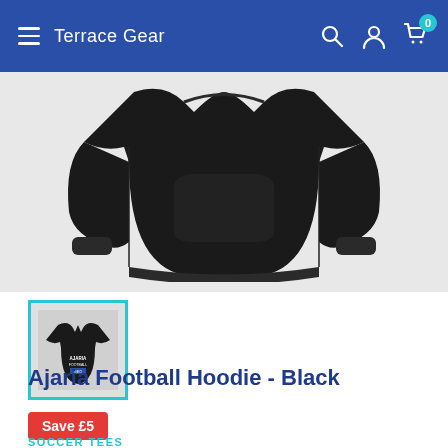Terrace Gear
[Figure (photo): Black hoodie sweatshirt product photo showing the front torso area with kangaroo pocket]
[Figure (photo): Small thumbnail of Ajaria Football Hoodie in black with selected teal border]
Ajaria Football Hoodie - Black
Save £5
SOCCER TEES